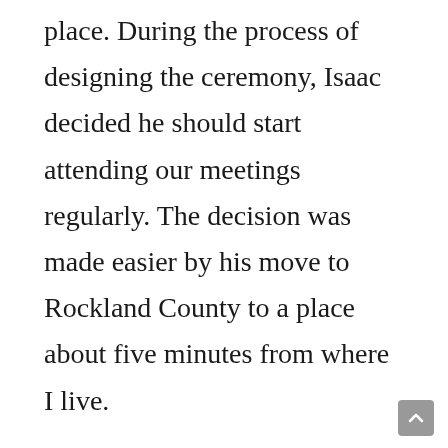place. During the process of designing the ceremony, Isaac decided he should start attending our meetings regularly. The decision was made easier by his move to Rockland County to a place about five minutes from where I live.
Isaac became one of us. He listened to us as we shared the problems of our lives. We listened to him as he shared his struggles, including his battles with the